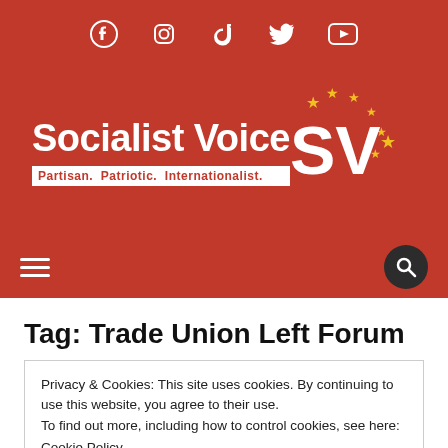Social media icons: Facebook, Instagram, TikTok, Twitter, YouTube
Socialist Voice — Partisan. Patriotic. Internationalist.
[Figure (logo): SV logo with stars in red background, gold stars arranged around SV letters]
Tag: Trade Union Left Forum
Privacy & Cookies: This site uses cookies. By continuing to use this website, you agree to their use.
To find out more, including how to control cookies, see here:
Cookie Policy
Close and accept
[Figure (photo): Bottom strip showing a partially visible outdoor photo]